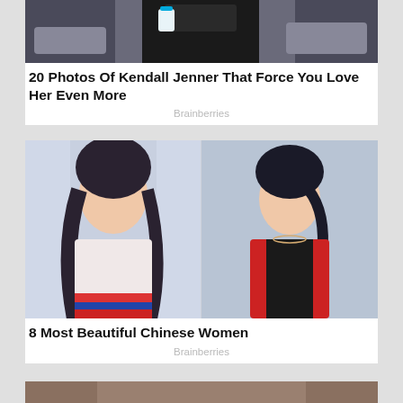[Figure (photo): Person in black outfit holding a cup, near cars]
20 Photos Of Kendall Jenner That Force You Love Her Even More
Brainberries
[Figure (photo): Two young Asian women: one in pink top with red skirt, one in red jacket over black outfit]
8 Most Beautiful Chinese Women
Brainberries
[Figure (photo): Partial image at bottom, partially visible]